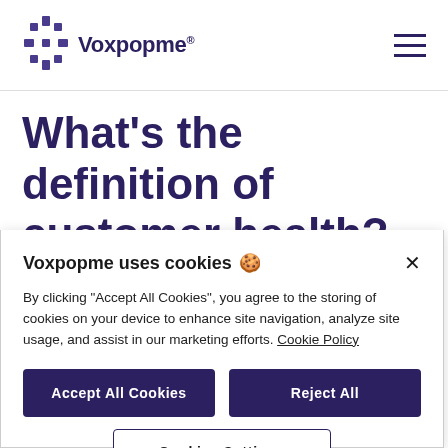[Figure (logo): Voxpopme logo with purple geometric star/asterisk icon and the text 'Voxpopme®']
What's the definition of customer health?
Voxpopme uses cookies 🍪
By clicking "Accept All Cookies", you agree to the storing of cookies on your device to enhance site navigation, analyze site usage, and assist in our marketing efforts. Cookie Policy
Accept All Cookies
Reject All
Cookies Settings